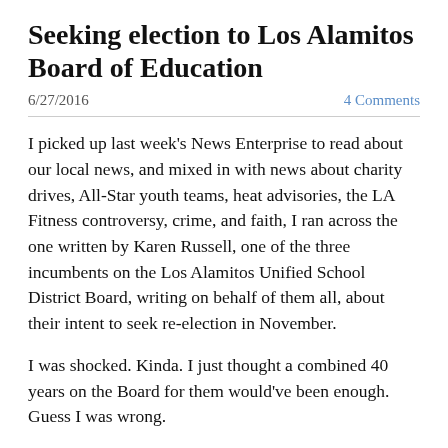Seeking election to Los Alamitos Board of Education
6/27/2016
4 Comments
I picked up last week's News Enterprise to read about our local news, and mixed in with news about charity drives, All-Star youth teams, heat advisories, the LA Fitness controversy, crime, and faith, I ran across the one written by Karen Russell, one of the three incumbents on the Los Alamitos Unified School District Board, writing on behalf of them all, about their intent to seek re-election in November.
I was shocked. Kinda. I just thought a combined 40 years on the Board for them would've been enough. Guess I was wrong.
Time to throw my hat in the proverbial ring.
I am seeking election for the Los Alamitos School District